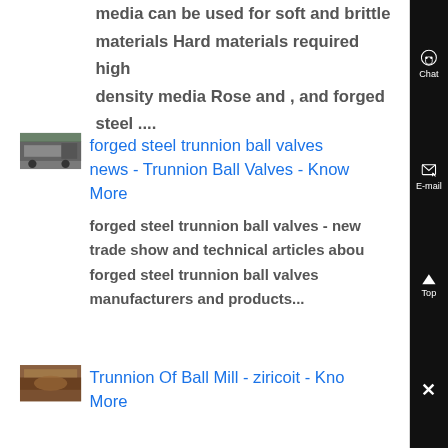media can be used for soft and brittle materials Hard materials required high density media Rose and , and forged steel ....
[Figure (photo): Thumbnail image of industrial truck or trailer with equipment]
forged steel trunnion ball valves news - Trunnion Ball Valves - Know More
forged steel trunnion ball valves - news, trade show and technical articles about forged steel trunnion ball valves manufacturers and products...
[Figure (photo): Thumbnail image of brownish industrial trunnion component]
Trunnion Of Ball Mill - ziricoit - Know More